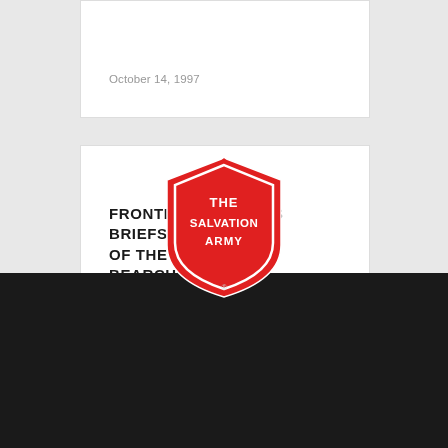October 14, 1997
FRONTLINES — NEWS BRIEFS OF THE WEST BOB BEARCHELL
October 14, 1997
[Figure (logo): The Salvation Army shield logo in red with white text reading THE SALVATION ARMY]